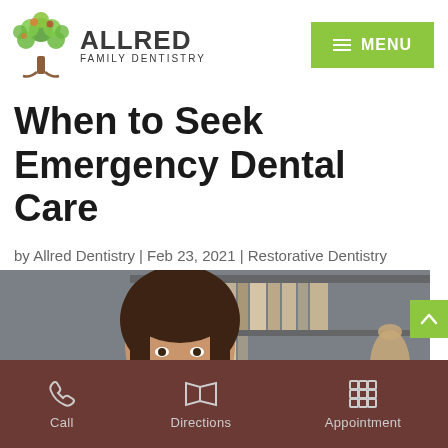[Figure (logo): Allred Family Dentistry logo with tree graphic and text]
[Figure (other): Green menu button with hamburger icon and MENU text]
When to Seek Emergency Dental Care
by Allred Dentistry | Feb 23, 2021 | Restorative Dentistry
[Figure (photo): Woman sitting and looking thoughtful with hand on chin, bookshelf in background]
Call   Directions   Appointment